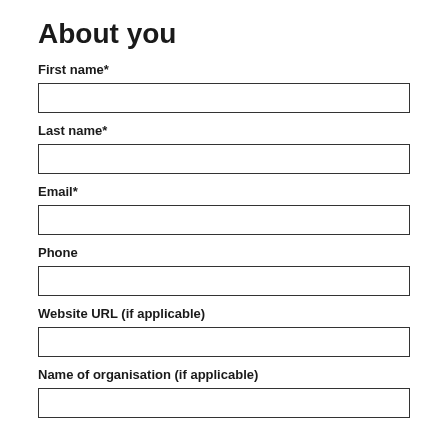About you
First name*
Last name*
Email*
Phone
Website URL (if applicable)
Name of organisation (if applicable)